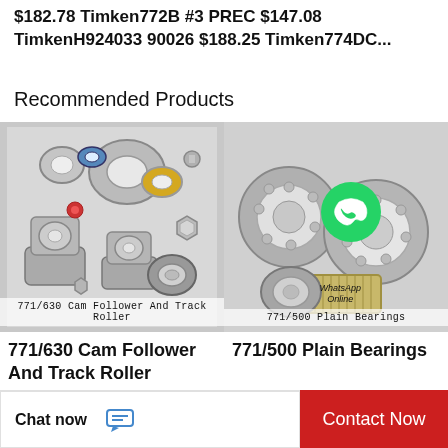$182.78 Timken772B #3 PREC $147.08 TimkenH924033 90026 $188.25 Timken774DC...
Recommended Products
[Figure (photo): Photo of assorted cam follower and track roller bearings, seals, and mechanical components on white background. Label: 771/630 Cam Follower And Track Roller]
771/630  Cam Follower And Track Roller
771/630  Cam Follower And Track Roller
[Figure (photo): Photo of plain bearings/ball bearings on light background with WhatsApp Online overlay icon. Label: 771/500 Plain Bearings]
771/500  Plain Bearings
771/500  Plain Bearings
Chat now
Contact Now